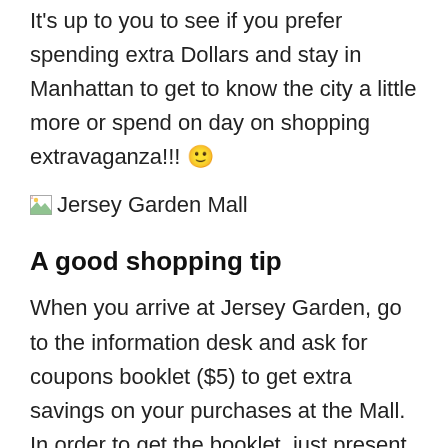It's up to you to see if you prefer spending extra Dollars and stay in Manhattan to get to know the city a little more or spend on day on shopping extravaganza!!! 😊
[Figure (photo): Broken image placeholder with alt text 'Jersey Garden Mall']
A good shopping tip
When you arrive at Jersey Garden, go to the information desk and ask for coupons booklet ($5) to get extra savings on your purchases at the Mall. In order to get the booklet, just present